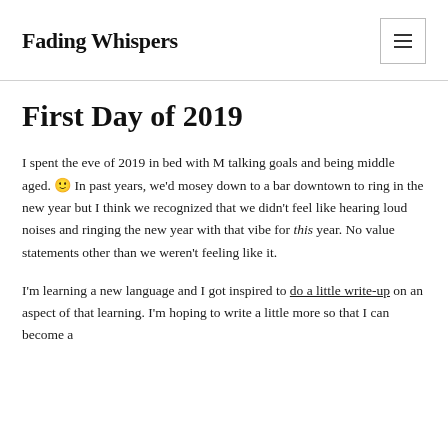Fading Whispers
First Day of 2019
I spent the eve of 2019 in bed with M talking goals and being middle aged. 🙂 In past years, we'd mosey down to a bar downtown to ring in the new year but I think we recognized that we didn't feel like hearing loud noises and ringing the new year with that vibe for this year. No value statements other than we weren't feeling like it.
I'm learning a new language and I got inspired to do a little write-up on an aspect of that learning. I'm hoping to write a little more so that I can become a